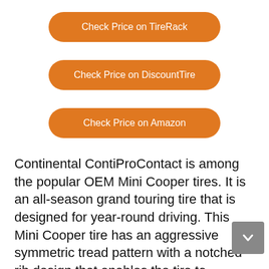Check Price on TireRack
Check Price on DiscountTire
Check Price on Amazon
Continental ContiProContact is among the popular OEM Mini Cooper tires. It is an all-season grand touring tire that is designed for year-round driving. This Mini Cooper tire has an aggressive symmetric tread pattern with a notched rib design that enables the tire to maintain closer contact with the road.